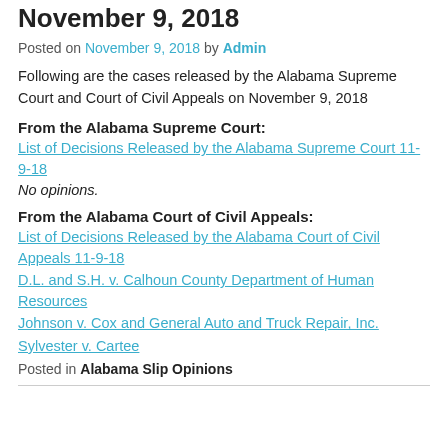November 9, 2018
Posted on November 9, 2018 by Admin
Following are the cases released by the Alabama Supreme Court and Court of Civil Appeals on November 9, 2018
From the Alabama Supreme Court:
List of Decisions Released by the Alabama Supreme Court 11-9-18
No opinions.
From the Alabama Court of Civil Appeals:
List of Decisions Released by the Alabama Court of Civil Appeals 11-9-18
D.L. and S.H. v. Calhoun County Department of Human Resources
Johnson v. Cox and General Auto and Truck Repair, Inc.
Sylvester v. Cartee
Posted in Alabama Slip Opinions